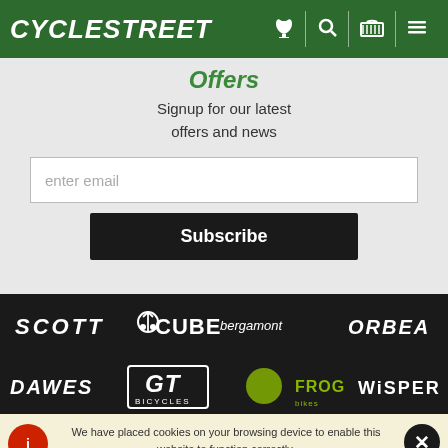CYCLESTREET
Offers
Signup for our latest offers and news
enter email
Subscribe
[Figure (logo): Brand logos row 1: SCOTT, CUBE, bergamont, ORBEA]
[Figure (logo): Brand logos row 2: DAWES, GT BICYCLES, FROG bikes, WISPER]
We have placed cookies on your browsing device to enable this website to function correctly. Further usage of this website indicates you are happy for us to do this.. Find out about the cookies we have set and how we use them.